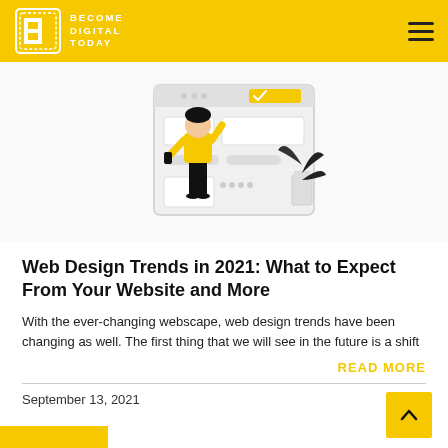BECOME DIGITAL TODAY
[Figure (illustration): Line illustration of a person in yellow top and black pants standing in front of a large website/app interface mockup with checkmarks, rectangles, and a plant beside it]
Web Design Trends in 2021: What to Expect From Your Website and More
With the ever-changing webscape, web design trends have been changing as well. The first thing that we will see in the future is a shift
READ MORE
September 13, 2021